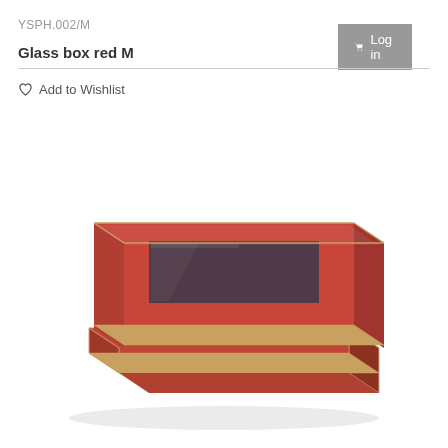YSPH.002/M
Log in
Glass box red M
Add to Wishlist
[Figure (photo): A red lacquered glass box with a dark glass panel on the lid, shown in a three-quarter perspective view. The box has gold-colored edges and a glossy red finish.]